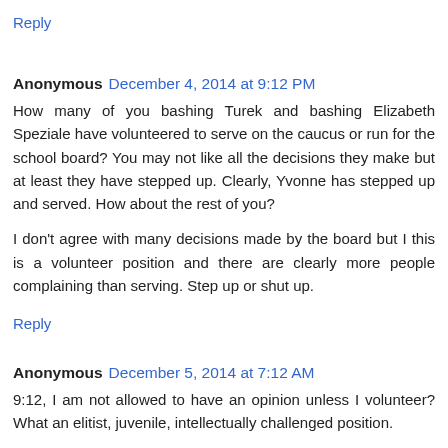Reply
Anonymous  December 4, 2014 at 9:12 PM
How many of you bashing Turek and bashing Elizabeth Speziale have volunteered to serve on the caucus or run for the school board? You may not like all the decisions they make but at least they have stepped up. Clearly, Yvonne has stepped up and served. How about the rest of you?
I don't agree with many decisions made by the board but I this is a volunteer position and there are clearly more people complaining than serving. Step up or shut up.
Reply
Anonymous  December 5, 2014 at 7:12 AM
9:12, I am not allowed to have an opinion unless I volunteer? What an elitist, juvenile, intellectually challenged position.